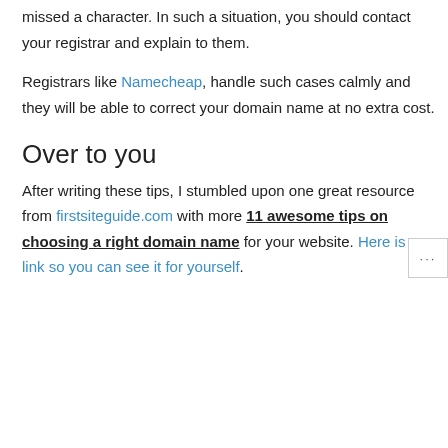missed a character. In such a situation, you should contact your registrar and explain to them.
Registrars like Namecheap, handle such cases calmly and they will be able to correct your domain name at no extra cost.
Over to you
After writing these tips, I stumbled upon one great resource from firstsiteguide.com with more 11 awesome tips on choosing a right domain name for your website. Here is a link so you can see it for yourself.